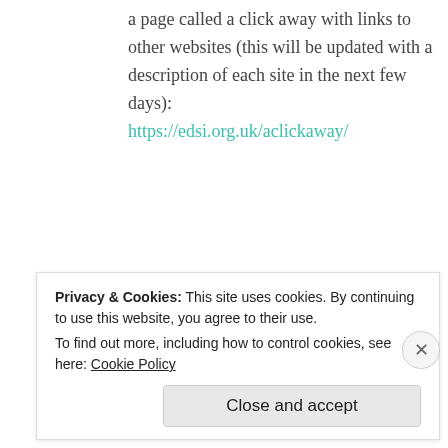a page called a click away with links to other websites (this will be updated with a description of each site in the next few days):
https://edsi.org.uk/aclickaway/
★ Like
REPLY
Privacy & Cookies: This site uses cookies. By continuing to use this website, you agree to their use.
To find out more, including how to control cookies, see here: Cookie Policy
Close and accept